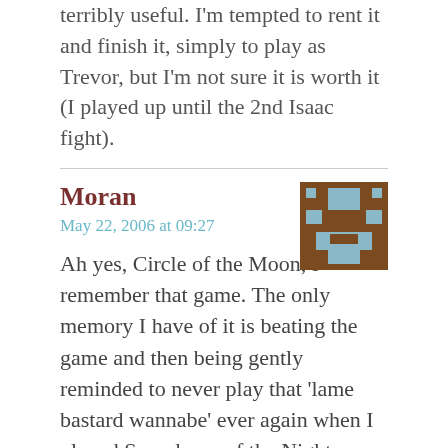terribly useful. I'm tempted to rent it and finish it, simply to play as Trevor, but I'm not sure it is worth it (I played up until the 2nd Isaac fight).
[Figure (illustration): Pixel art avatar showing a brown background with a light blue pixel art character/figure in the center]
Moran
May 22, 2006 at 09:27
Ah yes, Circle of the Moon, I remember that game. The only memory I have of it is beating the game and then being gently reminded to never play that 'lame bastard wannabe' ever again when I played Symphony of the Night sometime afterwards. Its true. I was